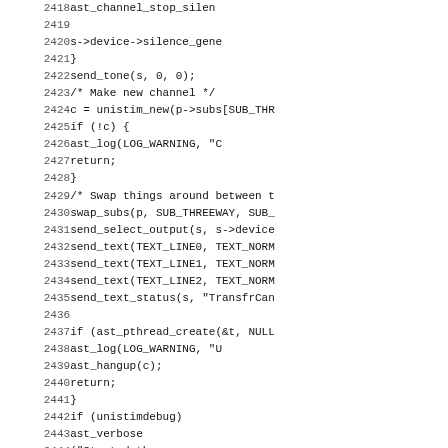[Figure (other): Source code listing lines 2418-2450 showing C code for a telecommunications/PBX system (Asterisk), including channel handling, thread creation, and debug logging.]